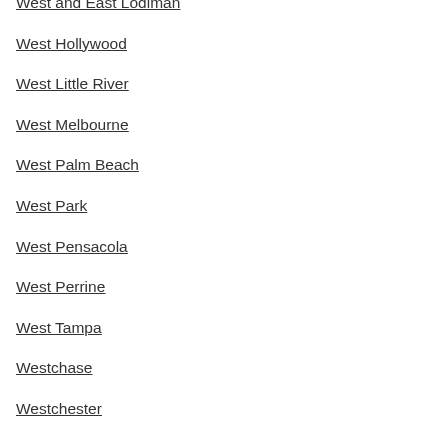West and East Lodiman
West Hollywood
West Little River
West Melbourne
West Palm Beach
West Park
West Pensacola
West Perrine
West Tampa
Westchase
Westchester